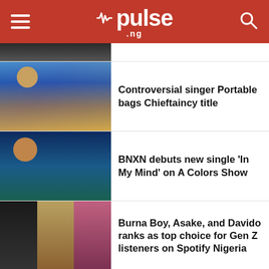pulse.ng
[Figure (photo): Partial top of a news article thumbnail, cropped at top of page]
Controversial singer Portable bags Chieftaincy title
[Figure (photo): Photo of singer Portable in traditional Nigerian attire with gold chains]
BNXN debuts new single 'In My Mind' on A Colors Show
[Figure (photo): Photo of BNXN smiling against blue background]
Burna Boy, Asake, and Davido ranks as top choice for Gen Z listeners on Spotify Nigeria
[Figure (photo): Trio collage photos of Burna Boy, Asake, and Davido]
Veteran rapper Eedris